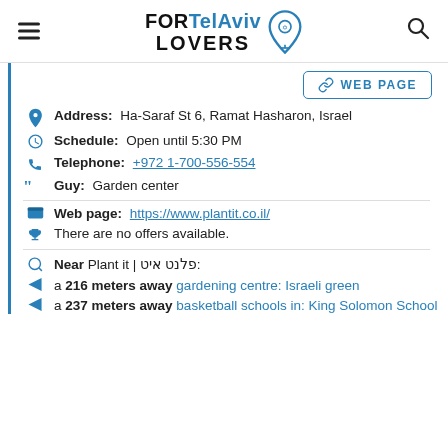FOR TelAviv LOVERS
WEB PAGE
Address: Ha-Saraf St 6, Ramat Hasharon, Israel
Schedule: Open until 5:30 PM
Telephone: +972 1-700-556-554
Guy: Garden center
Web page: https://www.plantit.co.il/
There are no offers available.
Near Plant it | פלנט איט:
a 216 meters away gardening centre: Israeli green
a 237 meters away basketball schools in: King Solomon School